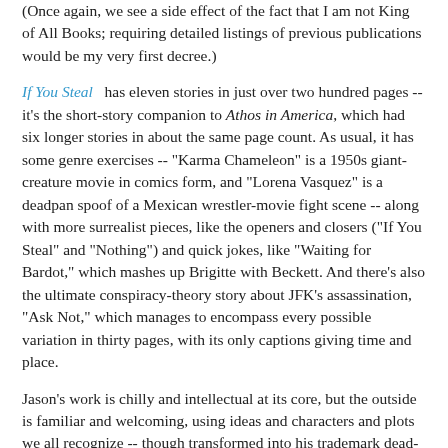(Once again, we see a side effect of the fact that I am not King of All Books; requiring detailed listings of previous publications would be my very first decree.)
If You Steal has eleven stories in just over two hundred pages -- it's the short-story companion to Athos in America, which had six longer stories in about the same page count. As usual, it has some genre exercises -- "Karma Chameleon" is a 1950s giant-creature movie in comics form, and "Lorena Vasquez" is a deadpan spoof of a Mexican wrestler-movie fight scene -- along with more surrealist pieces, like the openers and closers ("If You Steal" and "Nothing") and quick jokes, like "Waiting for Bardot," which mashes up Brigitte with Beckett. And there's also the ultimate conspiracy-theory story about JFK's assassination, "Ask Not," which manages to encompass every possible variation in thirty pages, with its only captions giving time and place.
Jason's work is chilly and intellectual at its core, but the outside is familiar and welcoming, using ideas and characters and plots we all recognize -- though transformed into his trademark dead-eyed animal-headed people, who